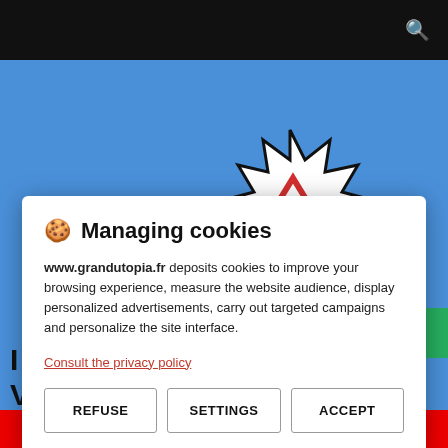[Figure (screenshot): Website background showing a cat with megaphone and warning sign illustration on blue background]
Managing cookies
www.grandutopia.fr deposits cookies to improve your browsing experience, measure the website audience, display personalized advertisements, carry out targeted campaigns and personalize the site interface.
Consult the privacy policy
REFUSE | SETTINGS | ACCEPT